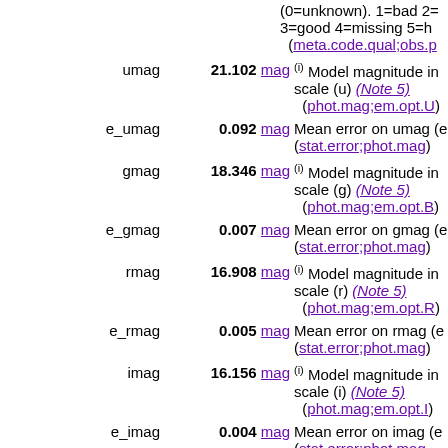(0=unknown). 1=bad 2=... 3=good 4=missing 5=h (meta.code.qual;obs.p
umag  21.102 mag  (i) Model magnitude in scale (u) (Note 5) (phot.mag;em.opt.U)
e_umag  0.092 mag  Mean error on umag (e (stat.error;phot.mag)
gmag  18.346 mag  (i) Model magnitude in scale (g) (Note 5) (phot.mag;em.opt.B)
e_gmag  0.007 mag  Mean error on gmag (e (stat.error;phot.mag)
rmag  16.908 mag  (i) Model magnitude in scale (r) (Note 5) (phot.mag;em.opt.R)
e_rmag  0.005 mag  Mean error on rmag (e (stat.error;phot.mag)
imag  16.156 mag  (i) Model magnitude in scale (i) (Note 5) (phot.mag;em.opt.I)
e_imag  0.004 mag  Mean error on imag (e (stat.error;phot.mag)